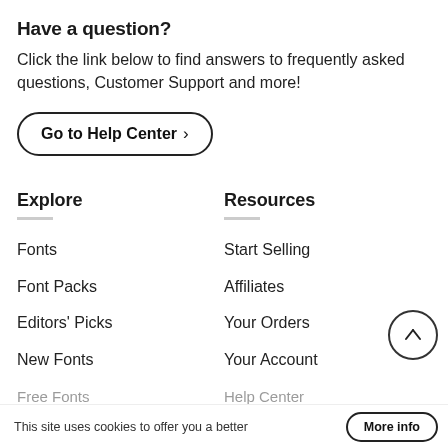Have a question?
Click the link below to find answers to frequently asked questions, Customer Support and more!
Go to Help Center >
Explore
Fonts
Font Packs
Editors' Picks
New Fonts
Resources
Start Selling
Affiliates
Your Orders
Your Account
This site uses cookies to offer you a better